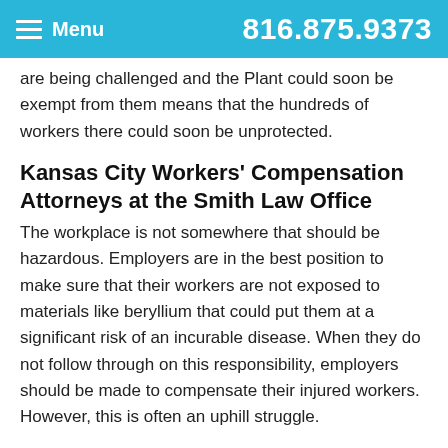Menu  816.875.9373
are being challenged and the Plant could soon be exempt from them means that the hundreds of workers there could soon be unprotected.
Kansas City Workers’ Compensation Attorneys at the Smith Law Office
The workplace is not somewhere that should be hazardous. Employers are in the best position to make sure that their workers are not exposed to materials like beryllium that could put them at a significant risk of an incurable disease. When they do not follow through on this responsibility, employers should be made to compensate their injured workers. However, this is often an uphill struggle.
That is why the workers’ compensation lawyers at the